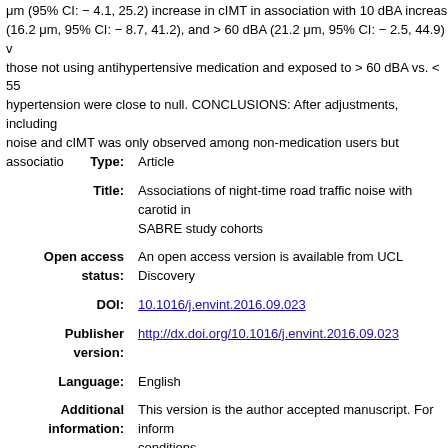μm (95% CI: − 4.1, 25.2) increase in cIMT in association with 10 dBA increase... (16.2 μm, 95% CI: − 8.7, 41.2), and > 60 dBA (21.2 μm, 95% CI: − 2.5, 44.9) v... those not using antihypertensive medication and exposed to > 60 dBA vs. < 55... hypertension were close to null. CONCLUSIONS: After adjustments, including... noise and cIMT was only observed among non-medication users but associatio...
| Field | Value |
| --- | --- |
| Type: | Article |
| Title: | Associations of night-time road traffic noise with carotid i... SABRE study cohorts |
| Open access status: | An open access version is available from UCL Discovery... |
| DOI: | 10.1016/j.envint.2016.09.023 |
| Publisher version: | http://dx.doi.org/10.1016/j.envint.2016.09.023 |
| Language: | English |
| Additional information: | This version is the author accepted manuscript. For infor... conditions. |
| Keywords: | Hypertension, Traffic noise, PARTICULATE AIR-POLLUT... HYPERTENSION, ADULTS, ATHEROSCLEROSIS, RISK... |